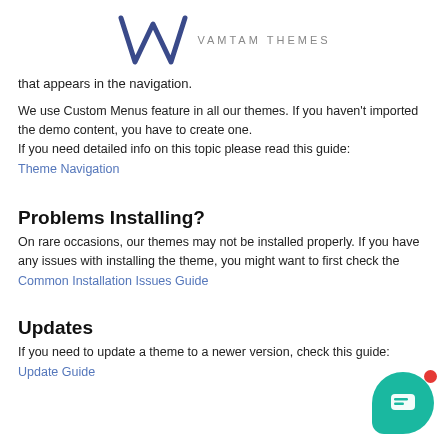[Figure (logo): VamTam Themes logo with stylized W/M mark and text 'VAMTAM THEMES']
that appears in the navigation.
We use Custom Menus feature in all our themes. If you haven't imported the demo content, you have to create one.
If you need detailed info on this topic please read this guide:
Theme Navigation
Problems Installing?
On rare occasions, our themes may not be installed properly. If you have any issues with installing the theme, you might want to first check the
Common Installation Issues Guide
Updates
If you need to update a theme to a newer version, check this guide:
Update Guide